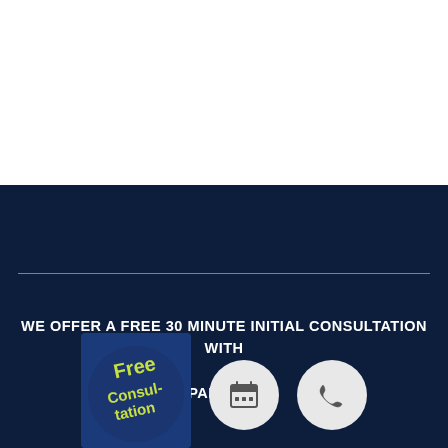[Figure (illustration): White background top section of webpage]
WE OFFER A FREE 30 MINUTE INITIAL CONSULTATION WITH

PARENTS
[Figure (illustration): Blue circular badge with 'FREE CONSULTATION' handwritten text in yellow-green]
[Figure (illustration): Grey circle icon with calendar/schedule symbol]
[Figure (illustration): Grey circle icon with phone symbol]